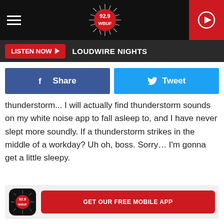92.9 WBUF | LISTEN NOW | LOUDWIRE NIGHTS
thunderstorm... I will actually find thunderstorm sounds on my white noise app to fall asleep to, and I have never slept more soundly. If a thunderstorm strikes in the middle of a workday? Uh oh, boss. Sorry… I'm gonna get a little sleepy.
[Figure (screenshot): GET OUR FREE MOBILE APP button with 92.9 WBUF app icon]
Sponsored
Q&A: Demi Lovato Felt 'Stale' Perf...